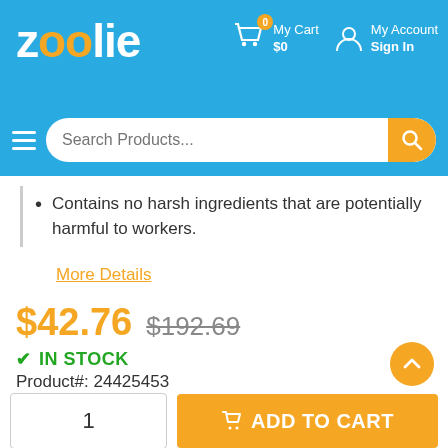[Figure (logo): Zoolie website logo in white with orange accent letters on blue background, with cart and account icons]
[Figure (screenshot): Search bar with hamburger menu icon and orange search button on blue background]
Contains no harsh ingredients that are potentially harmful to workers.
More Details
$42.76  $192.69
✔ IN STOCK
Product#: 24425453
[Figure (logo): Coastwide Professional brand logo]
ADD TO CART